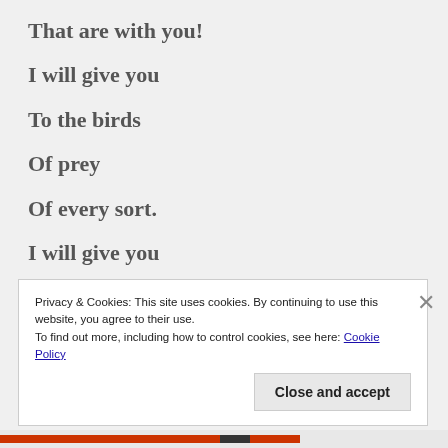That are with you!
I will give you
To the birds
Of prey
Of every sort.
I will give you
Privacy & Cookies: This site uses cookies. By continuing to use this website, you agree to their use. To find out more, including how to control cookies, see here: Cookie Policy
Close and accept